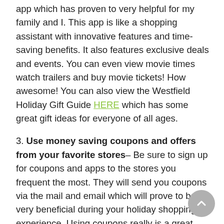app which has proven to very helpful for my family and I. This app is like a shopping assistant with innovative features and time-saving benefits. It also features exclusive deals and events. You can even view movie times watch trailers and buy movie tickets! How awesome! You can also view the Westfield Holiday Gift Guide HERE which has some great gift ideas for everyone of all ages.
3. Use money saving coupons and offers from your favorite stores– Be sure to sign up for coupons and apps to the stores you frequent the most. They will send you coupons via the mail and email which will prove to be very beneficial during your holiday shopping experience. Using coupons really is a great way to get the most bang for your buck and to stretch those hard-earned dollars.
4. Take advantage of the Family Parking and Family